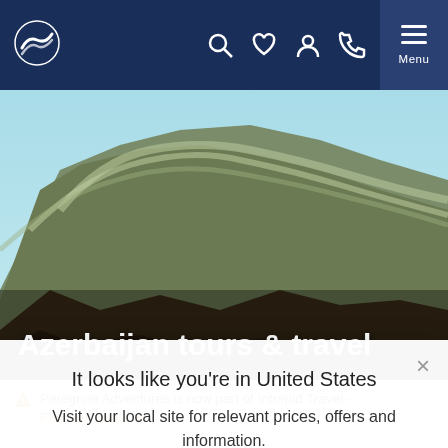Peregrine Adventures navigation bar with logo, search, wishlist, account, phone, and menu icons
[Figure (photo): Aerial/landscape photograph of Azerbaijan mountain terrain with rocky ridges and a light blue sky]
Azerbaijan tours & travel
Peregrine Adventures is now part of Intrepid Travel - Find out more ▶
It looks like you're in United States
Visit your local site for relevant prices, offers and information.
Continue to our United States site